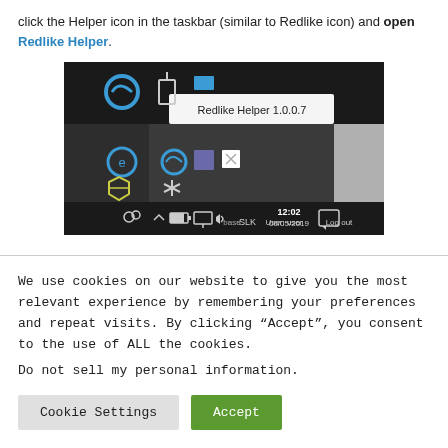click the Helper icon in the taskbar (similar to Redlike icon) and open Redlike Helper.
[Figure (screenshot): Screenshot of Windows taskbar showing the Redlike Helper 1.0.0.7 tooltip popup, with system tray icons including a circular Redlike icon, date/time showing 12:02 and 06/05/2019, and text showing 'base User: user Log out'.]
We use cookies on our website to give you the most relevant experience by remembering your preferences and repeat visits. By clicking "Accept", you consent to the use of ALL the cookies.
Do not sell my personal information.